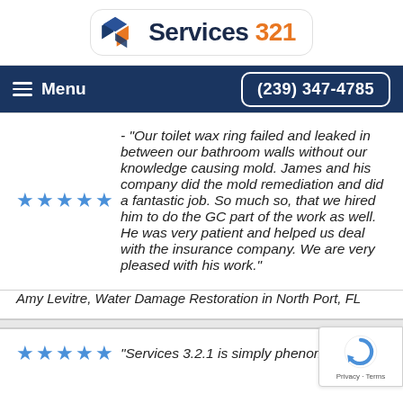[Figure (logo): Services 321 logo with geometric cube icon in blue and orange, company name text]
Menu   (239) 347-4785
★★★★★ - "Our toilet wax ring failed and leaked in between our bathroom walls without our knowledge causing mold. James and his company did the mold remediation and did a fantastic job. So much so, that we hired him to do the GC part of the work as well. He was very patient and helped us deal with the insurance company. We are very pleased with his work."
Amy Levitre, Water Damage Restoration in North Port, FL
★★★★★ "Services 3.2.1 is simply phenomonal!